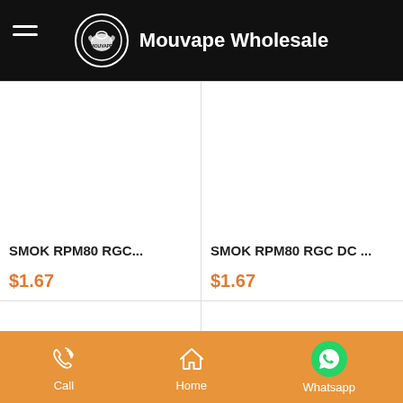Mouvape Wholesale
SMOK RPM80 RGC...
$1.67
SMOK RPM80 RGC DC ...
$1.67
Call  Home  Whatsapp